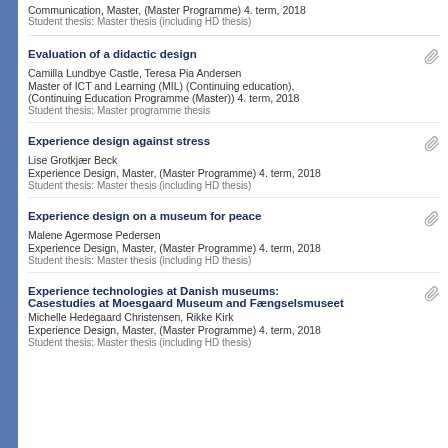Communication, Master, (Master Programme) 4. term, 2018
Student thesis: Master thesis (including HD thesis)
Evaluation of a didactic design
Camilla Lundbye Castle, Teresa Pia Andersen
Master of ICT and Learning (MIL) (Continuing education), (Continuing Education Programme (Master)) 4. term, 2018
Student thesis: Master programme thesis
Experience design against stress
Lise Grotkjær Beck
Experience Design, Master, (Master Programme) 4. term, 2018
Student thesis: Master thesis (including HD thesis)
Experience design on a museum for peace
Malene Agermose Pedersen
Experience Design, Master, (Master Programme) 4. term, 2018
Student thesis: Master thesis (including HD thesis)
Experience technologies at Danish museums: Casestudies at Moesgaard Museum and Fængselsmuseet
Michelle Hedegaard Christensen, Rikke Kirk
Experience Design, Master, (Master Programme) 4. term, 2018
Student thesis: Master thesis (including HD thesis)